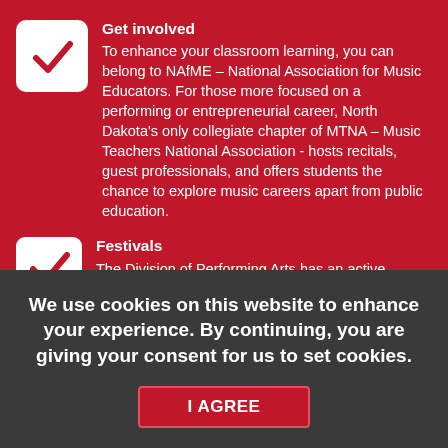Get involved
To enhance your classroom learning, you can belong to NAfME – National Association for Music Educators.  For those more focused on a performing or entrepreneurial career, North Dakota's only collegiate chapter of MTNA – Music Teachers National Association - hosts recitals, guest professionals, and offers students the chance to explore music careers apart from public education.
Festivals
The Division of Performing Arts has an active
We use cookies on this website to enhance your experience. By continuing, you are giving your consent for us to set cookies.
I AGREE